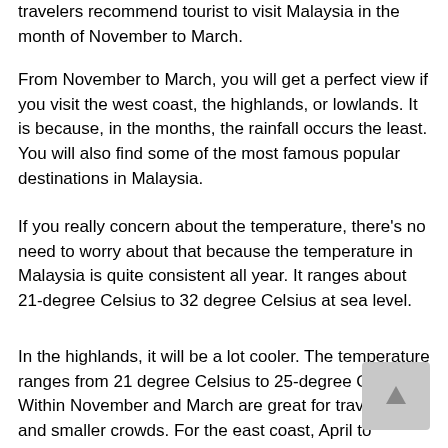travelers recommend tourist to visit Malaysia in the month of November to March.
From November to March, you will get a perfect view if you visit the west coast, the highlands, or lowlands. It is because, in the months, the rainfall occurs the least. You will also find some of the most famous popular destinations in Malaysia.
If you really concern about the temperature, there’s no need to worry about that because the temperature in Malaysia is quite consistent all year. It ranges about 21-degree Celsius to 32 degree Celsius at sea level.
In the highlands, it will be a lot cooler. The temperature ranges from 21 degree Celsius to 25-degree Celsius. Within November and March are great for travel deals and smaller crowds. For the east coast, April to September is the ideal time to visit.